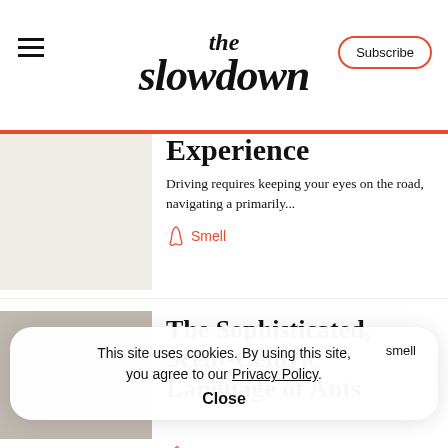the slowdown | Subscribe
Experience
Driving requires keeping your eyes on the road, navigating a primarily...
Smell
The Sophisticated, Scent-Centric Language of Ants
This site uses cookies. By using this site, you agree to our Privacy Policy. Close
Smell